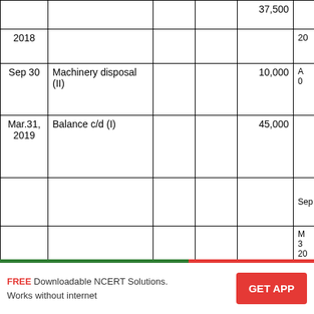| Date | Particulars |  |  | Amount |  |
| --- | --- | --- | --- | --- | --- |
|  |  |  |  | 37,500 |  |
| 2018 |  |  |  |  | 20 |
| Sep 30 | Machinery disposal (II) |  |  | 10,000 | A 0 |
| Mar.31, 2019 | Balance c/d (I) |  |  | 45,000 |  |
|  |  |  |  |  | Sep |
|  |  |  |  |  | M 3 20 |
|  |  |  |  | 55,000 |  |
|  |  |  |  |  |  |
FREE Downloadable NCERT Solutions. Works without internet
GET APP